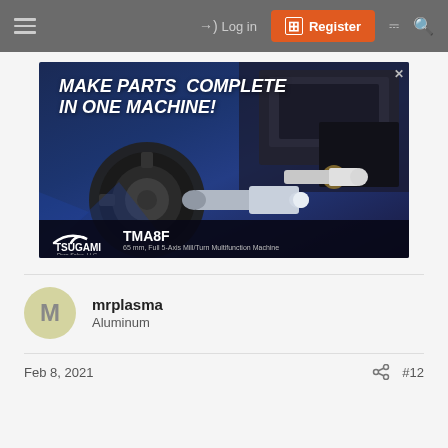Navigation bar with hamburger menu, Log in, Register, document and search icons
[Figure (infographic): Tsugami TMA8F advertisement banner showing CNC lathe/mill machine with the text 'MAKE PARTS COMPLETE IN ONE MACHINE!' and product name 'TSUGAMI TMA8F — 65 mm, Full 5-Axis Mill/Turn Multifunction Machine' by Rem Sales, LLC]
mrplasma
Aluminum
Feb 8, 2021
#12